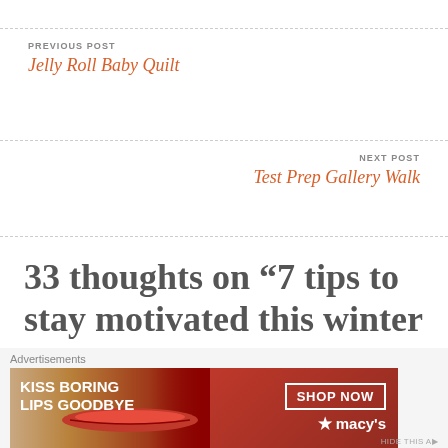PREVIOUS POST
Jelly Roll Baby Quilt
NEXT POST
Test Prep Gallery Walk
33 thoughts on “7 tips to stay motivated this winter (and feel better, too!)”
Advertisements
[Figure (photo): Advertisement banner: KISS BORING LIPS GOODBYE with SHOP NOW and macy's logo on dark red background with woman's face]